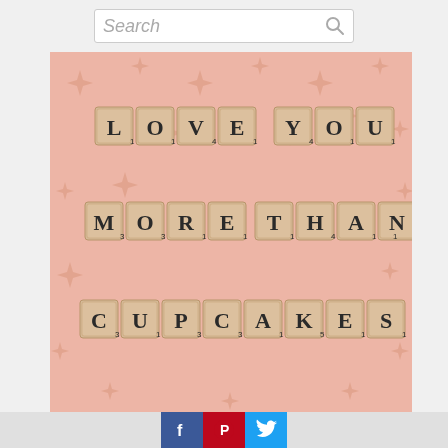[Figure (screenshot): Website screenshot showing a search bar at the top, a photo of Scrabble tiles spelling 'LOVE YOU MORE THAN CUPCAKES' on a pink patterned background, and social media share buttons (Facebook, Pinterest, Twitter) at the bottom.]
Social share buttons: Facebook, Pinterest, Twitter